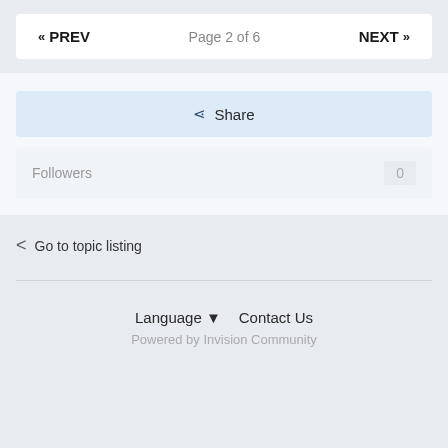« PREV   Page 2 of 6   NEXT »
Share
Followers   0
< Go to topic listing
Language ▼   Contact Us
Powered by Invision Community